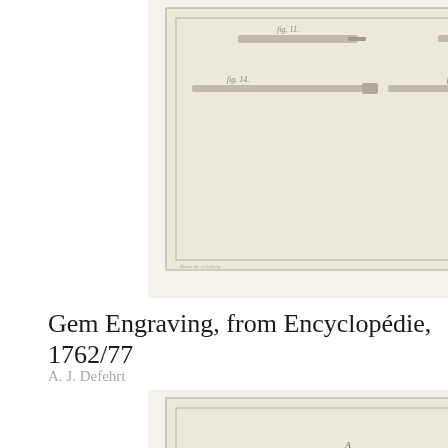[Figure (illustration): Historical engraving plate showing gem engraving tools - various elongated instruments and burins arranged in rows, with italic French caption 'Gravure en Pierres fines' at bottom, from the Encyclopédie]
Gem Engraving, from Encyclopédie, 1762/77
A. J. Defehrt
[Figure (illustration): Historical engraving plate showing gem cutting shapes and forms - a rectangular block with horizontal lines (top left), a trapezoidal gem shape (top right), a small tool or instrument (far right), and partial views of rounded gem shapes at the bottom, from the Encyclopédie]